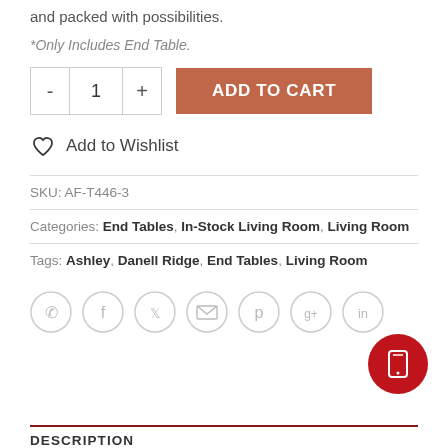and packed with possibilities.
*Only Includes End Table.
ADD TO CART
Add to Wishlist
SKU: AF-T446-3
Categories: End Tables, In-Stock Living Room, Living Room
Tags: Ashley, Danell Ridge, End Tables, Living Room
[Figure (infographic): Social sharing icons: phone, facebook, twitter, email, pinterest, google+, linkedin]
[Figure (infographic): Red circular mobile button with phone/device icon]
DESCRIPTION